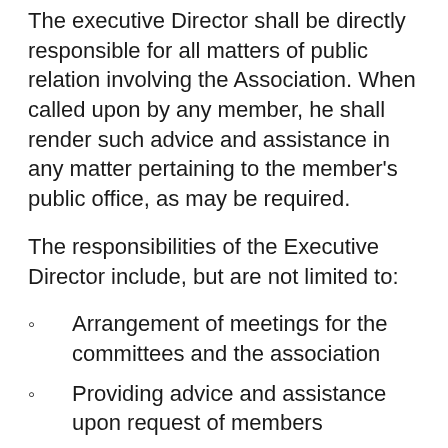The executive Director shall be directly responsible for all matters of public relation involving the Association. When called upon by any member, he shall render such advice and assistance in any matter pertaining to the member's public office, as may be required.
The responsibilities of the Executive Director include, but are not limited to:
Arrangement of meetings for the committees and the association
Providing advice and assistance upon request of members
Developing responses to area of particular concern to PVA's
Assisting the Association in legislative matters
Keeping PVA's informed on matters of interest